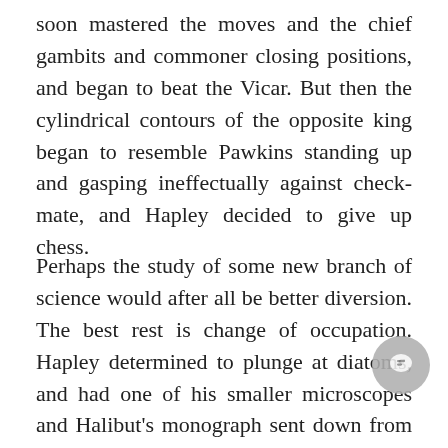soon mastered the moves and the chief gambits and commoner closing positions, and began to beat the Vicar. But then the cylindrical contours of the opposite king began to resemble Pawkins standing up and gasping ineffectually against check-mate, and Hapley decided to give up chess.
Perhaps the study of some new branch of science would after all be better diversion. The best rest is change of occupation. Hapley determined to plunge at diatoms, and had one of his smaller microscopes and Halibut's monograph sent down from London. He thought that perhaps he could get up a vigorous quarrel with Halibut, he might be able to